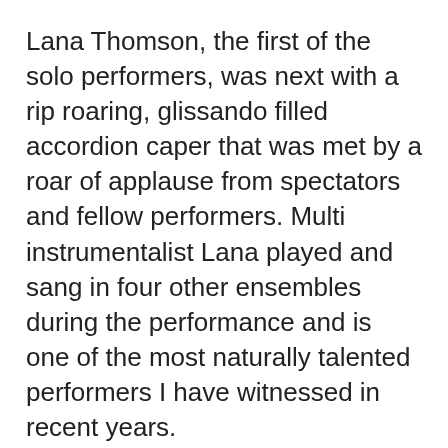Lana Thomson, the first of the solo performers, was next with a rip roaring, glissando filled accordion caper that was met by a roar of applause from spectators and fellow performers. Multi instrumentalist Lana played and sang in four other ensembles during the performance and is one of the most naturally talented performers I have witnessed in recent years.
[Figure (screenshot): Cookie consent banner overlay with blue background. Text: 'This website uses cookies to ensure you get the best experience on our website.' with a 'Learn more' link and a 'Got it!' button. Partially visible text to the right showing fragments: 'on', 'ed a', 'er', 'pe, a', 'no'.]